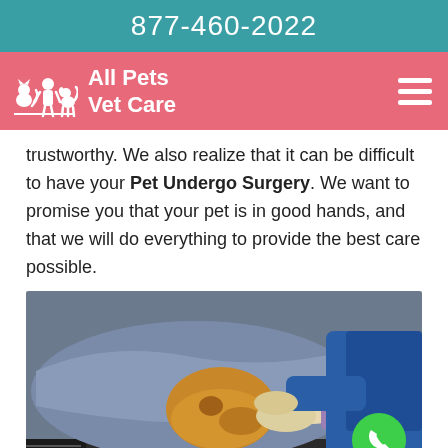877-460-2022
[Figure (logo): All Pets Vet Care logo on salmon/pink header bar with hamburger menu icon]
trustworthy. We also realize that it can be difficult to have your Pet Undergo Surgery. We want to promise you that your pet is in good hands, and that we will do everything to provide the best care possible.
[Figure (photo): Veterinarian in blue scrubs and gloves treating a dog wrapped in a blanket on a table, with a green call button overlay]
Long Island City Pet Physical Exams